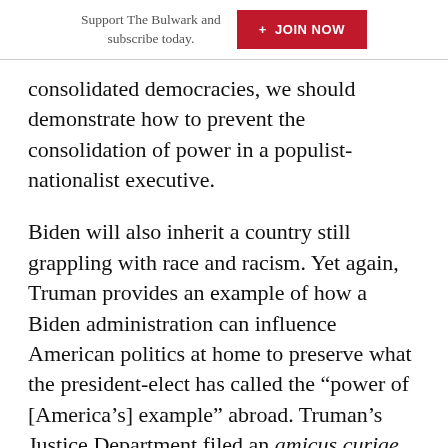Support The Bulwark and subscribe today. + JOIN NOW
consolidated democracies, we should demonstrate how to prevent the consolidation of power in a populist-nationalist executive.
Biden will also inherit a country still grappling with race and racism. Yet again, Truman provides an example of how a Biden administration can influence American politics at home to preserve what the president-elect has called the “power of [America’s] example” abroad. Truman’s Justice Department filed an amicus curiae brief before the Supreme Court in Brown v. Board of Education, noting “Racial discrimination furnishes grist for